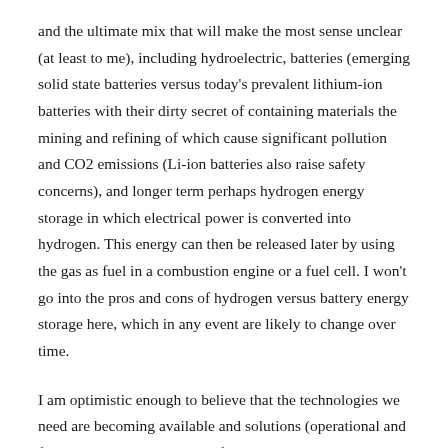and the ultimate mix that will make the most sense unclear (at least to me), including hydroelectric, batteries (emerging solid state batteries versus today's prevalent lithium-ion batteries with their dirty secret of containing materials the mining and refining of which cause significant pollution and CO2 emissions (Li-ion batteries also raise safety concerns), and longer term perhaps hydrogen energy storage in which electrical power is converted into hydrogen. This energy can then be released later by using the gas as fuel in a combustion engine or a fuel cell. I won't go into the pros and cons of hydrogen versus battery energy storage here, which in any event are likely to change over time.
I am optimistic enough to believe that the technologies we need are becoming available and solutions (operational and financial) to admittedly very formidable challenges can be formulated and implemented. But then there is politics, which I perceive in today's US is THE major obstacle to implementing effective and sensible decisions. Perhaps less so in Massachusetts to the extent we can take necessary steps without depending on a Federal program for green electricity infrastructure, or on the good will or commonsense or sense of decency of one of our major